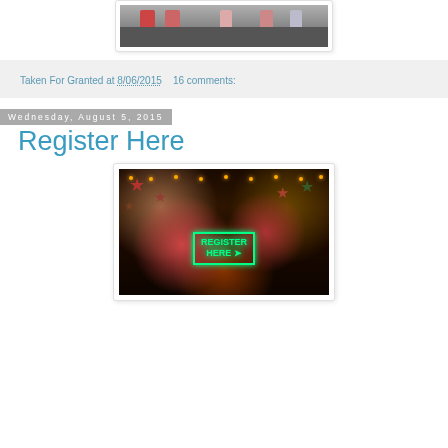[Figure (photo): Top portion of a photo showing people's legs/feet on steps, partially visible]
Taken For Granted at 8/06/2015   16 comments:
Wednesday, August 5, 2015
Register Here
[Figure (photo): Photo of a festive indoor scene with colorful star decorations, string lights, and a neon 'Register Here' sign glowing in green]